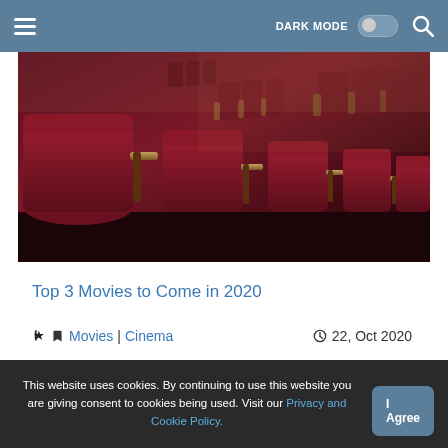DARK MODE (toggle) [search icon]
[Figure (photo): Rows of red theater/cinema seats with wooden armrests, viewed from the side in perspective, in a cinema auditorium.]
Top 3 Movies to Come in 2020
Movies | Cinema   22, Oct 2020
This website uses cookies. By continuing to use this website you are giving consent to cookies being used. Visit our Privacy and Cookie Policy.